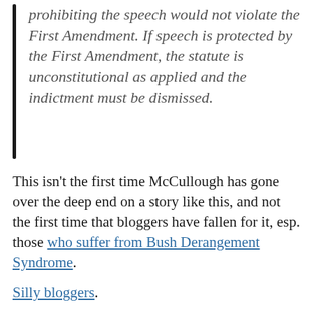prohibiting the speech would not violate the First Amendment. If speech is protected by the First Amendment, the statute is unconstitutional as applied and the indictment must be dismissed.
This isn't the first time McCullough has gone over the deep end on a story like this, and not the first time that bloggers have fallen for it, esp. those who suffer from Bush Derangement Syndrome.
Silly bloggers.
*The EFF is an ersatz civil liberties organization that...